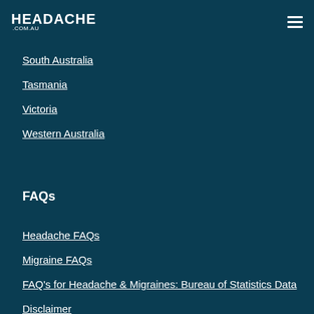HEADACHE .COM.AU
South Australia
Tasmania
Victoria
Western Australia
FAQs
Headache FAQs
Migraine FAQs
FAQ's for Headache & Migraines: Bureau of Statistics Data
Disclaimer